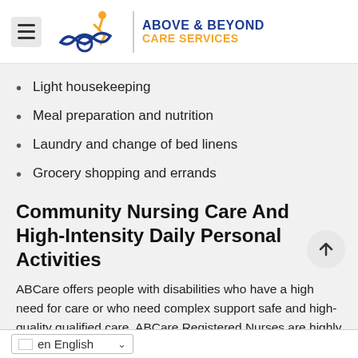Above & Beyond Care Services
Light housekeeping
Meal preparation and nutrition
Laundry and change of bed linens
Grocery shopping and errands
Community Nursing Care And High-Intensity Daily Personal Activities
ABCare offers people with disabilities who have a high need for care or who need complex support safe and high-quality qualified care. ABCare Registered Nurses are highly skilled, experienced, compassionate, intuitive, and professional. Whenever you need us – we're there for you. Morning or evening, we offer to facilitate whatever is needed for you to